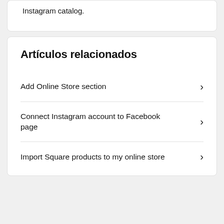Instagram catalog.
Artículos relacionados
Add Online Store section
Connect Instagram account to Facebook page
Import Square products to my online store